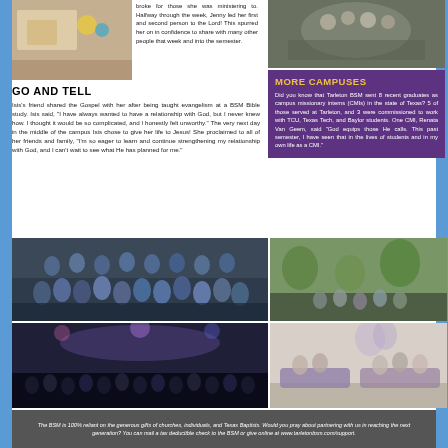[Figure (photo): Photo of food/table setting with colorful items]
broke for those she was ministering to. Halfway through the week, Jenny led her first and second person to the Lord! This spurred her on in confidence to share with many other people that week and into the semester.
[Figure (photo): Group photo of students]
GO AND TELL
Isis's friend shared the Gospel with her after being taught evangelism at a BSM Bible study. Isis said, "I have always wanted to have a relationship with God, but I never knew how. I thought it would be so complicated, and I honestly felt unworthy." The very next day in the middle of the campus Isis chose to give her life to Jesus! She proclaimed to all of her friends and family, "I'm so eager to learn and continue strengthening my relationship with God, and I can't wait to see what He has planned for me."
MORE CAMPUSES
Did you know that Tarleton BSM sent 8 recent graduates as campus missionary interns (CMIs) in the state of Texas? 5 of those served at Tarleton, and 3 were commissioned to work with TCU, Texas Tech, and Baylor students. One CMI, Renata Van Geem, said "God equips those He calls. This past semester, I have seen that in the lives of students and in my own life as a CMI."
[Figure (photo): Large group photo of students in blue jackets]
[Figure (photo): Crowd at an event with lights]
[Figure (photo): Students sitting outdoors on campus]
[Figure (photo): Students sitting on couches indoors]
The BSM is 100% reliant on the generous gifts of churches, individuals, and Texas Baptists. Would you pray about partnering with us in reaching the next generation? You can mail a tax deductible check to the BSM or give online at www.tarletonbsm.com/support.